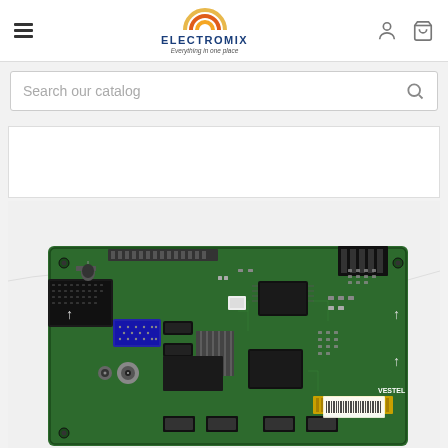ELECTROMIX — Everything in one place (header with hamburger menu, logo, person icon, cart icon)
Search our catalog
[Figure (photo): Green TV mainboard/motherboard (Vestel brand) with multiple ports including SCART, VGA, HDMI, USB, coaxial, and various connectors and chips on a PCB, photographed on white background.]